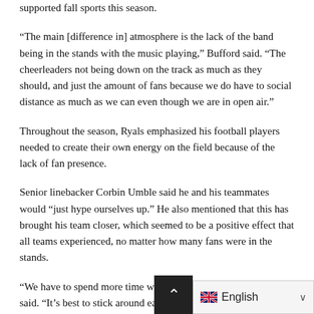supported fall sports this season.
“The main [difference in] atmosphere is the lack of the band being in the stands with the music playing,” Bufford said. “The cheerleaders not being down on the track as much as they should, and just the amount of fans because we do have to social distance as much as we can even though we are in open air.”
Throughout the season, Ryals emphasized his football players needed to create their own energy on the field because of the lack of fan presence.
Senior linebacker Corbin Umble said he and his teammates would “just hype ourselves up.” He also mentioned that this has brought his team closer, which seemed to be a positive effect that all teams experienced, no matter how many fans were in the stands.
“We have to spend more time with each other than be out,” he said. “It’s best to stick around each other than to be out and get coronavirus.”